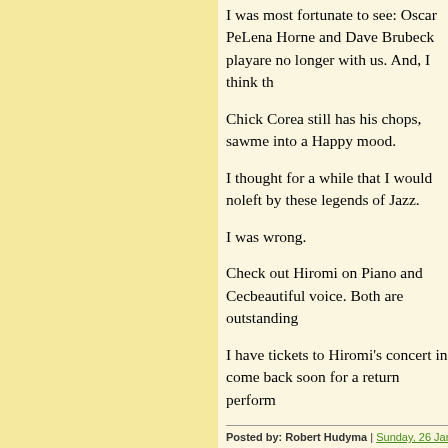I was most fortunate to see: Oscar Pe… Lena Horne and Dave Brubeck play… are no longer with us. And, I think th…
Chick Corea still has his chops, saw… me into a Happy mood.
I thought for a while that I would no… left by these legends of Jazz.
I was wrong.
Check out Hiromi on Piano and Cec… beautiful voice. Both are outstanding…
I have tickets to Hiromi's concert in… come back soon for a return perform…
Posted by: Robert Hudyma | Sunday, 26 January 2020
I don't have a favorite musician any… but I have favorite musicians! Quite…